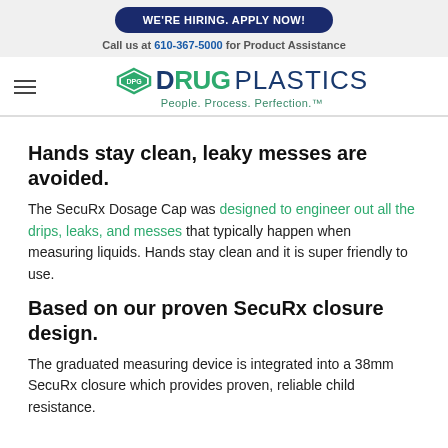WE'RE HIRING. APPLY NOW!
Call us at 610-367-5000 for Product Assistance
[Figure (logo): Drug Plastics logo with diamond DPG icon, text 'DRUG PLASTICS' and tagline 'People. Process. Perfection.']
Hands stay clean, leaky messes are avoided.
The SecuRx Dosage Cap was designed to engineer out all the drips, leaks, and messes that typically happen when measuring liquids. Hands stay clean and it is super friendly to use.
Based on our proven SecuRx closure design.
The graduated measuring device is integrated into a 38mm SecuRx closure which provides proven, reliable child resistance.